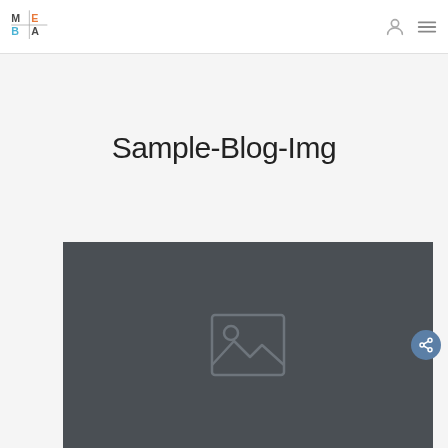MEDA logo with navigation icons
Sample-Blog-Img
[Figure (illustration): Dark gray placeholder image area with a generic image/photo icon in the center]